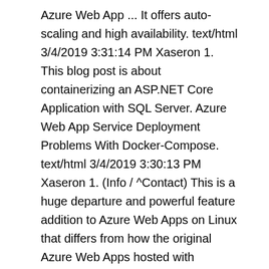Azure Web App ... It offers auto-scaling and high availability. text/html 3/4/2019 3:31:14 PM Xaseron 1. This blog post is about containerizing an ASP.NET Core Application with SQL Server. Azure Web App Service Deployment Problems With Docker-Compose. text/html 3/4/2019 3:30:13 PM Xaseron 1. (Info / ^Contact) This is a huge departure and powerful feature addition to Azure Web Apps on Linux that differs from how the original Azure Web Apps hosted with Windows Server and IIS is implemented. Creating a Dockerfile. I would like to know how it is possible to deploy an image hosted in a private repository respectively in Azure Container Service to Azure WebApp Service. Azure Container Service is one of the solutions that Azure provides for us, to host our containerized software components without having to worry about provisioning VMs (low level solution with a lot of management overhead) or using Azure App service which is a very high level PaaS platform. Now we are